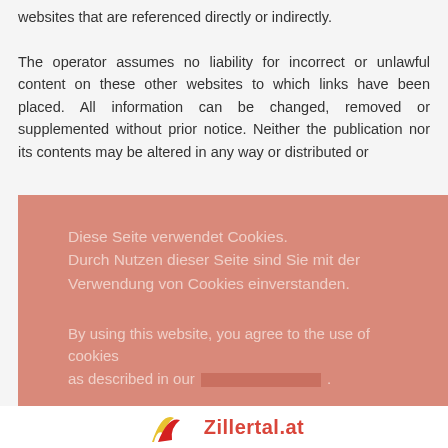websites that are referenced directly or indirectly. The operator assumes no liability for incorrect or unlawful content on these other websites to which links have been placed. All information can be changed, removed or supplemented without prior notice. Neither the publication nor its contents may be altered in any way or distributed or
Diese Seite verwendet Cookies.
Durch Nutzen dieser Seite sind Sie mit der Verwendung von Cookies einverstanden.

By using this website, you agree to the use of cookies as described in our [link].
OK
[Figure (logo): Zillertal.at logo with red swoosh icon and bold red text]